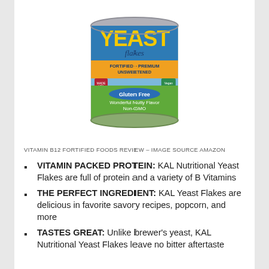[Figure (photo): Product photo of KAL Nutritional Yeast Flakes can. The cylindrical can has a colorful label: top portion is blue with large yellow text 'YEAST', below in script 'flakes', then 'FORTIFIED · PREMIUM UNSWEETENED', with USA flag and Vegan badges. Middle section is orange. Lower section is green with 'Gluten Free', 'Wonderful Nutty Flavor', 'Non-GMO', and 'NET WT. 12 oz. (340 g)'.]
VITAMIN B12 FORTIFIED FOODS REVIEW – IMAGE SOURCE AMAZON
VITAMIN PACKED PROTEIN: KAL Nutritional Yeast Flakes are full of protein and a variety of B Vitamins
THE PERFECT INGREDIENT: KAL Yeast Flakes are delicious in favorite savory recipes, popcorn, and more
TASTES GREAT: Unlike brewer's yeast, KAL Nutritional Yeast Flakes leave no bitter aftertaste